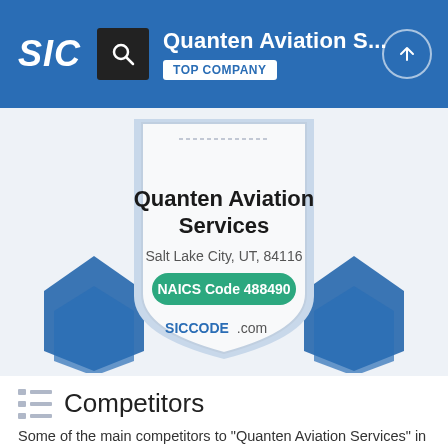SIC | Quanten Aviation S... TOP COMPANY
[Figure (illustration): Award badge/seal for Quanten Aviation Services showing company name, location Salt Lake City, UT, 84116, and NAICS Code 488490, with ribbon decoration and SICCODE.com branding]
Competitors
Some of the main competitors to "Quanten Aviation Services" in SIC Code 4785 - Fixed Facilities and